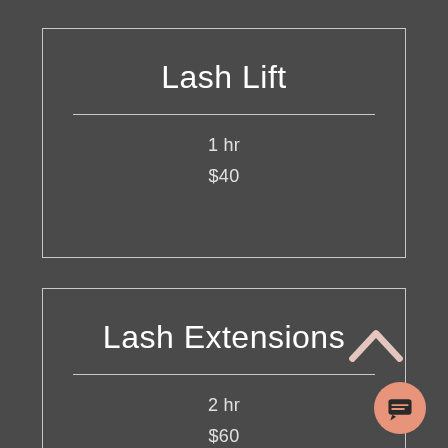Lash Lift
1 hr
$40
Lash Extensions
2 hr
$60
[Figure (illustration): Chevron/up-arrow icon in white, and a salmon/pink circular chat button with a speech bubble icon]